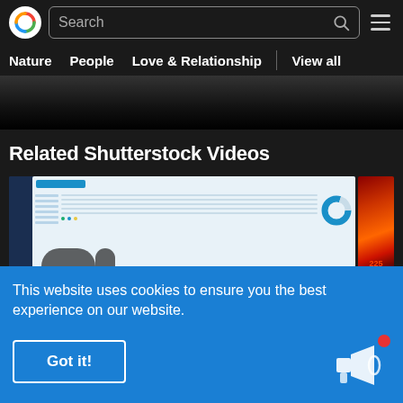[Figure (screenshot): Website header with Shutterstock-style logo (colorful C), search bar, and hamburger menu on dark background]
Nature   People   Love & Relationship   |   View all
[Figure (photo): Dark background image strip partially visible]
Related Shutterstock Videos
[Figure (screenshot): Video thumbnail showing a dashboard analytics interface with donut chart]
[Figure (photo): Partial thumbnail of red/orange heatmap or thermal image]
This website uses cookies to ensure you the best experience on our website.
Got it!